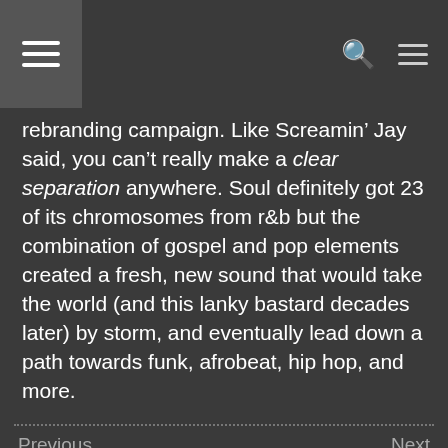Navigation bar with hamburger menu, search icon, and menu icon
rebranding campaign. Like Screamin’ Jay said, you can’t really make a clear separation anywhere. Soul definitely got 23 of its chromosomes from r&b but the combination of gospel and pop elements created a fresh, new sound that would take the world (and this lanky bastard decades later) by storm, and eventually lead down a path towards funk, afrobeat, hip hop, and more.
Previous   Next
[Figure (photo): Circular avatar photo of a person with colorful artistic styling]
[Figure (logo): Google reCAPTCHA badge with Privacy and Terms links]